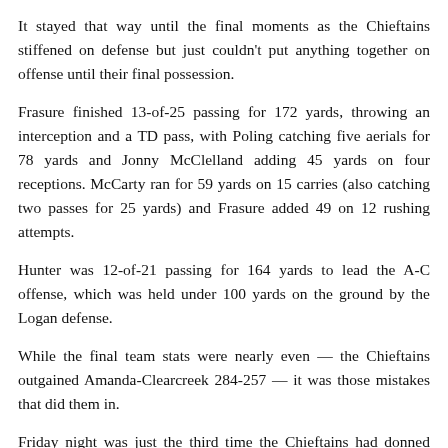It stayed that way until the final moments as the Chieftains stiffened on defense but just couldn't put anything together on offense until their final possession.
Frasure finished 13-of-25 passing for 172 yards, throwing an interception and a TD pass, with Poling catching five aerials for 78 yards and Jonny McClelland adding 45 yards on four receptions. McCarty ran for 59 yards on 15 carries (also catching two passes for 25 yards) and Frasure added 49 on 12 rushing attempts.
Hunter was 12-of-21 passing for 164 yards to lead the A-C offense, which was held under 100 yards on the ground by the Logan defense.
While the final team stats were nearly even — the Chieftains outgained Amanda-Clearcreek 284-257 — it was those mistakes that did them in.
Friday night was just the third time the Chieftains had donned helmets and shoulder pads to face an opponent — a scrimmage with Marietta and regular season games with Jackson and A-C — so in a sense,